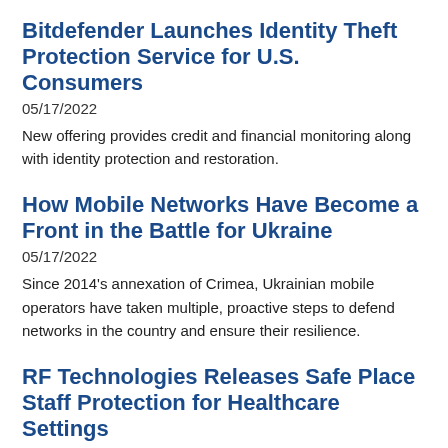Bitdefender Launches Identity Theft Protection Service for U.S. Consumers
05/17/2022
New offering provides credit and financial monitoring along with identity protection and restoration.
How Mobile Networks Have Become a Front in the Battle for Ukraine
05/17/2022
Since 2014's annexation of Crimea, Ukrainian mobile operators have taken multiple, proactive steps to defend networks in the country and ensure their resilience.
RF Technologies Releases Safe Place Staff Protection for Healthcare Settings